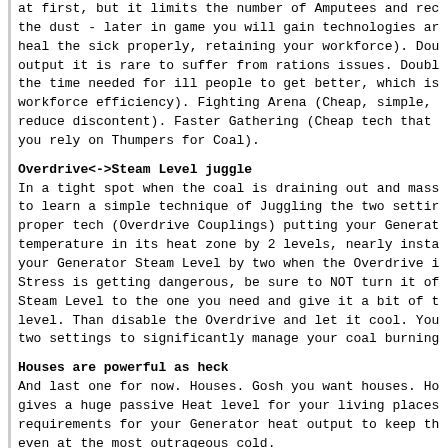at first, but it limits the number of Amputees and reduces the dust - later in game you will gain technologies and heal the sick properly, retaining your workforce). Double output it is rare to suffer from rations issues. Double the time needed for ill people to get better, which is workforce efficiency). Fighting Arena (Cheap, simple, reduce discontent). Faster Gathering (Cheap tech that you rely on Thumpers for Coal).
Overdrive<->Steam Level juggle
In a tight spot when the coal is draining out and mass to learn a simple technique of Juggling the two settings proper tech (Overdrive Couplings) putting your Generator temperature in its heat zone by 2 levels, nearly instantly your Generator Steam Level by two when the Overdrive is Stress is getting dangerous, be sure to NOT turn it off Steam Level to the one you need and give it a bit of time level. Than disable the Overdrive and let it cool. You two settings to significantly manage your coal burning
Houses are powerful as heck
And last one for now. Houses. Gosh you want houses. House gives a huge passive Heat level for your living places requirements for your Generator heat output to keep them even at the most outrageous cold.
Useful Tips:
------------
-Learn to micro hunters/miners.
-Also it's said to...